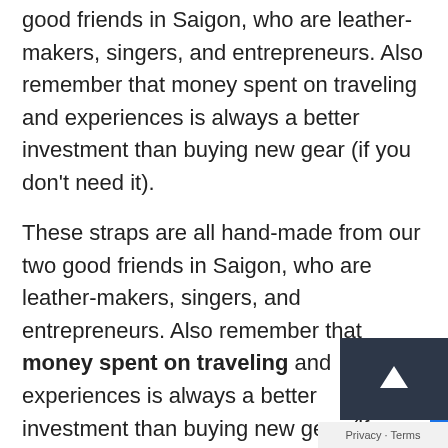good friends in Saigon, who are leather-makers, singers, and entrepreneurs. Also remember that money spent on traveling and experiences is always a better investment than buying new gear (if you don't need it).
These straps are all hand-made from our two good friends in Saigon, who are leather-makers, singers, and entrepreneurs. Also remember that money spent on traveling and experiences is always a better investment than buying new gear (if you don't need it).